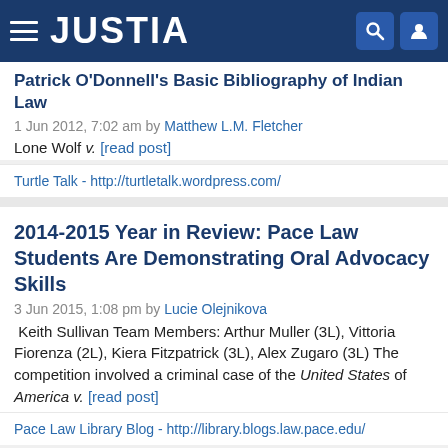JUSTIA
Patrick O'Donnell's Basic Bibliography of Indian Law
1 Jun 2012, 7:02 am by Matthew L.M. Fletcher
Lone Wolf v. [read post]
Turtle Talk - http://turtletalk.wordpress.com/
2014-2015 Year in Review: Pace Law Students Are Demonstrating Oral Advocacy Skills
3 Jun 2015, 1:08 pm by Lucie Olejnikova
Keith Sullivan Team Members: Arthur Muller (3L), Vittoria Fiorenza (2L), Kiera Fitzpatrick (3L), Alex Zugaro (3L) The competition involved a criminal case of the United States of America v. [read post]
Pace Law Library Blog - http://library.blogs.law.pace.edu/